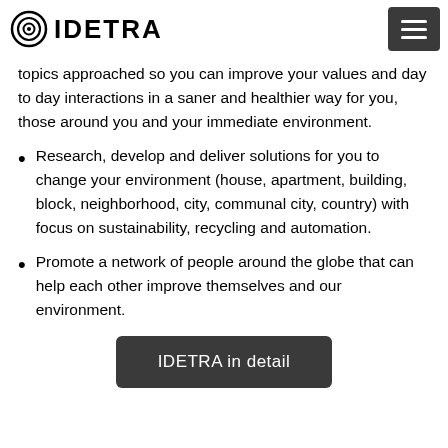IDETRA (logo with navigation menu)
environment. Non-violent communication, scientific and transactional psychology are some of the topics approached so you can improve your values and day to day interactions in a saner and healthier way for you, those around you and your immediate environment.
Research, develop and deliver solutions for you to change your environment (house, apartment, building, block, neighborhood, city, communal city, country) with focus on sustainability, recycling and automation.
Promote a network of people around the globe that can help each other improve themselves and our environment.
IDETRA in detail